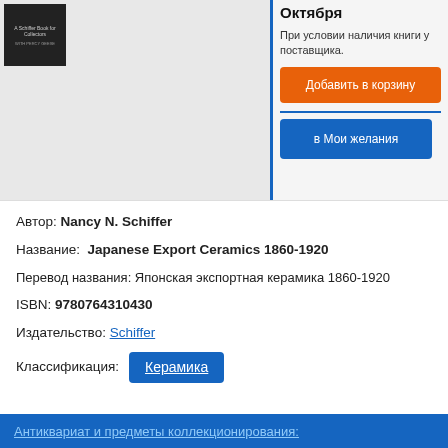[Figure (photo): Book cover thumbnail for Japanese Export Ceramics with Schiffer branding on dark background]
Сентября начале Октября
При условии наличия книги у поставщика.
Добавить в корзину
в Мои желания
Автор: Nancy N. Schiffer
Название:  Japanese Export Ceramics 1860-1920
Перевод названия: Японская экспортная керамика 1860-1920
ISBN: 9780764310430
Издательство: Schiffer
Классификация: Керамика
Антиквариат и предметы коллекционирования: